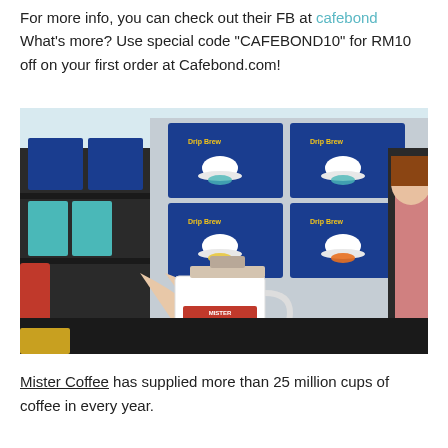For more info, you can check out their FB at cafebond What's more? Use special code "CAFEBOND10" for RM10 off on your first order at Cafebond.com!
[Figure (photo): A hand holding a white Mister Coffee branded mug with a drip coffee filter on top, in front of shelves stacked with blue Drip Brew coffee product boxes.]
Mister Coffee has supplied more than 25 million cups of coffee in every year.